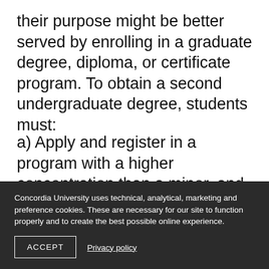their purpose might be better served by enrolling in a graduate degree, diploma, or certificate program. To obtain a second undergraduate degree, students must:
a) Apply and register in a program with a higher concentration than a minor, and
b) Complete at lease two-thirds of the credits normally required for the second degree in courses other than those credited to the first degree - for example, a minimum of 60 credits must be complete
Concordia University uses technical, analytical, marketing and preference cookies. These are necessary for our site to function properly and to create the best possible online experience.
ACCEPT
Privacy policy